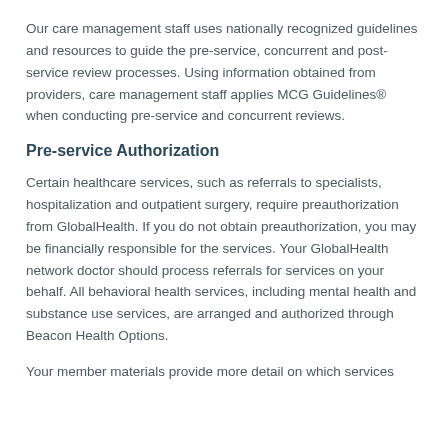Our care management staff uses nationally recognized guidelines and resources to guide the pre-service, concurrent and post-service review processes. Using information obtained from providers, care management staff applies MCG Guidelines® when conducting pre-service and concurrent reviews.
Pre-service Authorization
Certain healthcare services, such as referrals to specialists, hospitalization and outpatient surgery, require preauthorization from GlobalHealth. If you do not obtain preauthorization, you may be financially responsible for the services. Your GlobalHealth network doctor should process referrals for services on your behalf. All behavioral health services, including mental health and substance use services, are arranged and authorized through Beacon Health Options.
Your member materials provide more detail on which services